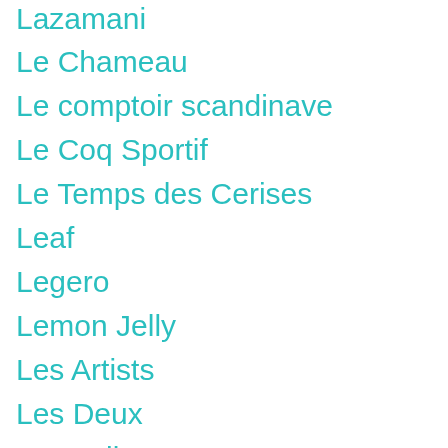Lazamani
Le Chameau
Le comptoir scandinave
Le Coq Sportif
Le Temps des Cerises
Leaf
Legero
Lemon Jelly
Les Artists
Les Deux
Les Lolitas
Les P'tites Bombes